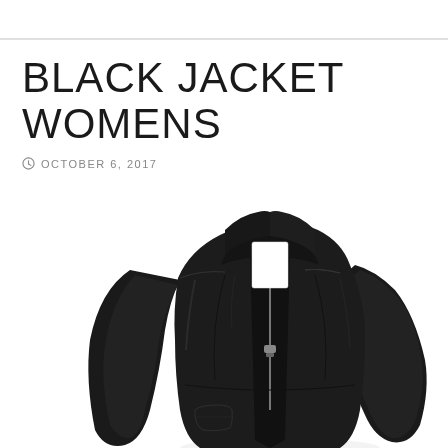BLACK JACKET WOMENS
OCTOBER 6, 2017
[Figure (photo): A black women's leather biker jacket with zipper front, stand collar, and fitted silhouette, shown on a white background.]